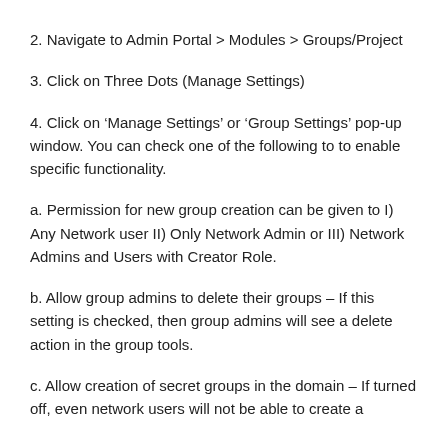2. Navigate to Admin Portal > Modules > Groups/Project
3. Click on Three Dots (Manage Settings)
4. Click on ‘Manage Settings’ or ‘Group Settings’ pop-up window. You can check one of the following to to enable specific functionality.
a. Permission for new group creation can be given to I) Any Network user II) Only Network Admin or III) Network Admins and Users with Creator Role.
b. Allow group admins to delete their groups – If this setting is checked, then group admins will see a delete action in the group tools.
c. Allow creation of secret groups in the domain – If turned off, even network users will not be able to create a